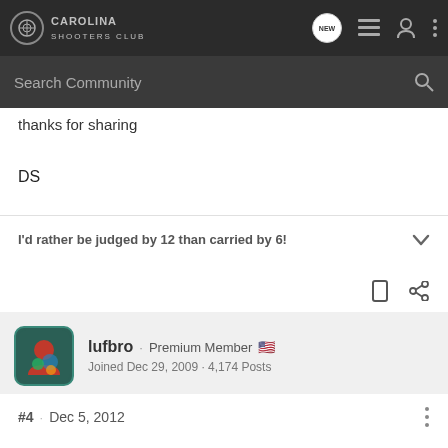Carolina Shooters Club
thanks for sharing
DS
I'd rather be judged by 12 than carried by 6!
lufbro · Premium Member
Joined Dec 29, 2009 · 4,174 Posts
#4 · Dec 5, 2012